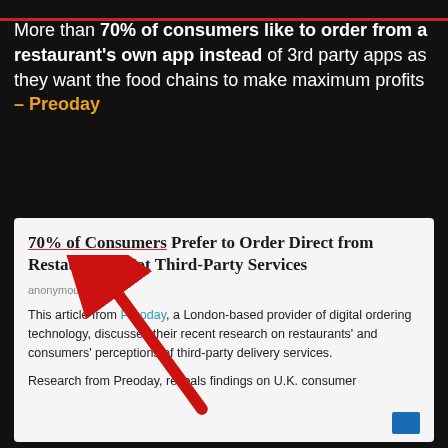More than 70% of consumers like to order from a restaurant's own app instead of 3rd party apps as they want the food chains to make maximum profits – Preoday
[Figure (screenshot): Screenshot of an article card with title '70% of Consumers Prefer to Order Direct from Restaurants, Not Third-Party Services', author 'anonymous', and article body text mentioning Preoday. A large red arrow annotation overlays the card pointing to the article title.]